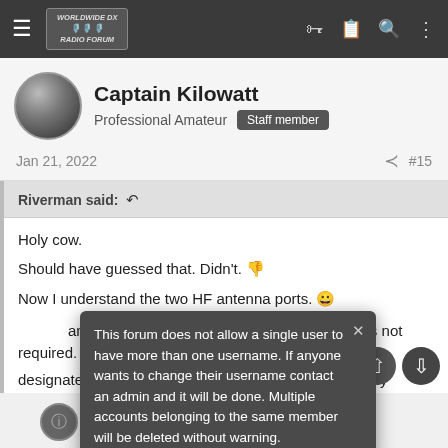Worldwide DX Radio Forum — navigation bar
Captain Kilowatt
Professional Amateur  Staff member
Jan 21, 2022  #15
Riverman said: ↩
Holy cow.
Should have guessed that. Didn't. 👎
Now I understand the two HF antenna ports. 😁
This forum does not allow a single user to have more than one username. If anyone wants to change their username contact an admin and it will be done. Multiple accounts belonging to the same member will be deleted without warning.
...antenna ports so an external antenna switch is not required. If it is designated as a separate RX antenna port, they usually